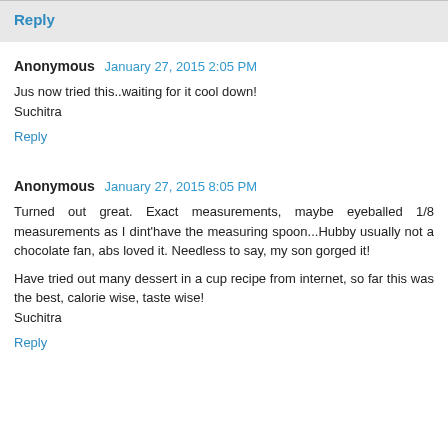Reply
Anonymous  January 27, 2015 2:05 PM
Jus now tried this..waiting for it cool down!
Suchitra
Reply
Anonymous  January 27, 2015 8:05 PM
Turned out great. Exact measurements, maybe eyeballed 1/8 measurements as I dint'have the measuring spoon...Hubby usually not a chocolate fan, abs loved it. Needless to say, my son gorged it!

Have tried out many dessert in a cup recipe from internet, so far this was the best, calorie wise, taste wise!
Suchitra
Reply